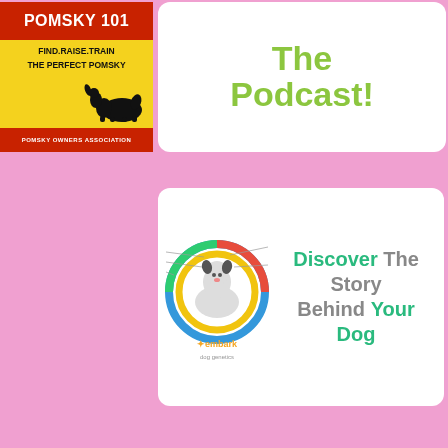[Figure (illustration): Pomsky 101 advertisement banner. Left side has yellow background with red header bar reading 'POMSKY 101', subtext 'FIND.RAISE.TRAIN THE PERFECT POMSKY', a black dog silhouette, and red footer bar reading 'POMSKY OWNERS ASSOCIATION'. Right side is a white card with 'The Podcast!' in green text.]
[Figure (illustration): Embark dog DNA test advertisement. Left portion shows a dog with colorful DNA ring chart overlay and Embark logo. Right text reads 'Discover The Story Behind Your Dog' with 'Discover' and 'Your Dog' in green.]
[Figure (illustration): Baxter & Bella Online Puppy School advertisement. Black vertical PARTNERS stripe on left, then logo area with 'The Online Puppy School!' script text, 'BAXTER & Bella' large logo, and 'USE CODE POMSKYPATCH FOR 25% OFF' in orange/gold text.]
[Figure (photo): Play-Time Safety Tips article thumbnail. Blue/blurred background with colorful toy shapes. Green text overlay: 'Play-Time Safety Tips:' and white subtext 'Chew toys to avoid with your new puppy...']